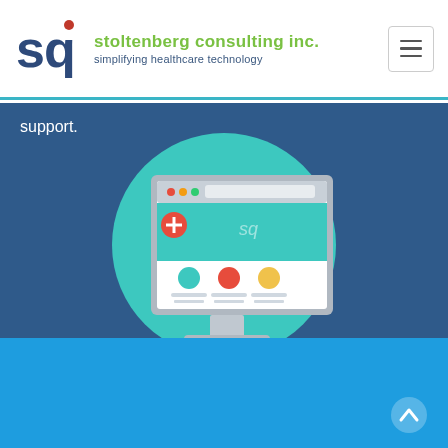stoltenberg consulting inc. — simplifying healthcare technology
support.
[Figure (illustration): Flat design illustration of a desktop computer monitor displaying a healthcare website (with teal banner, plus/cross icon, colored circle icons), set inside a large teal circle, on a dark blue background.]
[Figure (logo): Stoltenberg Consulting Inc. logo: 'sq' letters in dark blue with a red dot accent, with green text 'stoltenberg consulting inc.' and dark blue subtitle 'simplifying healthcare technology']